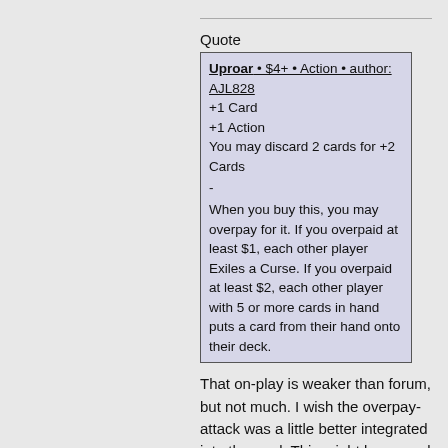Quote
| Uproar • $4+ • Action • author: AJL828 |
| +1 Card |
| +1 Action |
| You may discard 2 cards for +2 Cards |
| - |
| When you buy this, you may overpay for it. If you overpaid at least $1, each other player Exiles a Curse. If you overpaid at least $2, each other player with 5 or more cards in hand puts a card from their hand onto their deck. |
That on-play is weaker than forum, but not much. I wish the overpay-attack was a little better integrated into the card. This might be a good candidate for mixing with
Annie's Curse Tokens/ Themewise I'm not sure what Coven-y cursing and a minor haunting have to do with an uproar.